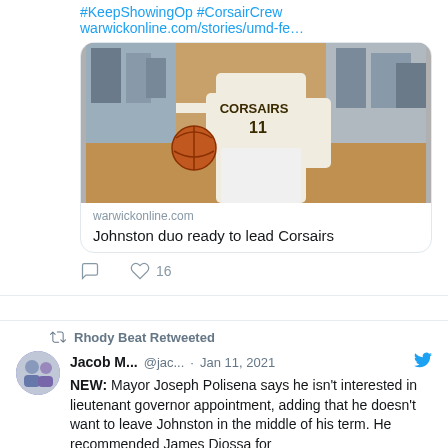#KeepShowingOp #CorsairCrew warwickonline.com/stories/umd-fe…
[Figure (photo): Basketball player wearing Corsairs #11 jersey dribbling a ball during a game]
warwickonline.com
Johnston duo ready to lead Corsairs
16 likes
Rhody Beat Retweeted
Jacob M... @jac... · Jan 11, 2021
NEW: Mayor Joseph Polisena says he isn't interested in lieutenant governor appointment, adding that he doesn't want to leave Johnston in the middle of his term. He recommended James Diossa for